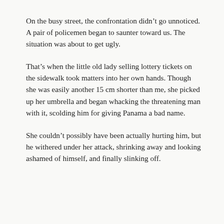On the busy street, the confrontation didn’t go unnoticed. A pair of policemen began to saunter toward us. The situation was about to get ugly.
That’s when the little old lady selling lottery tickets on the sidewalk took matters into her own hands. Though she was easily another 15 cm shorter than me, she picked up her umbrella and began whacking the threatening man with it, scolding him for giving Panama a bad name.
She couldn’t possibly have been actually hurting him, but he withered under her attack, shrinking away and looking ashamed of himself, and finally slinking off.